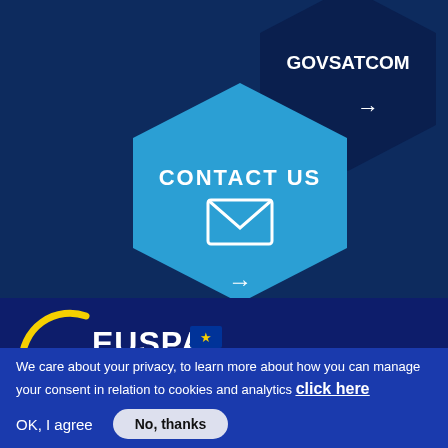[Figure (infographic): Dark navy blue hexagon shape containing white bold text 'GOVSATCOM' and a white right arrow, positioned upper right of the top section]
[Figure (infographic): Light blue hexagon shape containing white text 'CONTACT US', a white envelope icon, and a white right arrow, positioned center of the top section]
[Figure (logo): EUSPA logo (European Union Agency for the Space Programme) shown partially at bottom left, with yellow arc and white text on dark blue background]
We care about your privacy, to learn more about how you can manage your consent in relation to cookies and analytics click here
OK, I agree
No, thanks